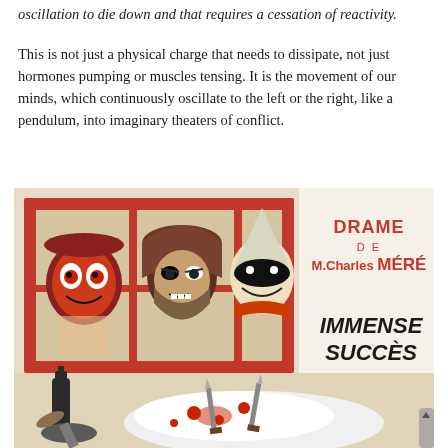oscillation to die down and that requires a cessation of reactivity.
This is not just a physical charge that needs to dissipate, not just hormones pumping or muscles tensing. It is the movement of our minds, which continuously oscillate to the left or the right, like a pendulum, into imaginary theaters of conflict.
[Figure (illustration): Vintage French theater poster illustration showing three menacing masked figures peering through a window frame above a fallen Pierrot clown figure stabbed with daggers. Text reads 'DRAME DE M.Charles MÉRÉ' and 'IMMENSE SUCCÈS' in red and black lettering.]